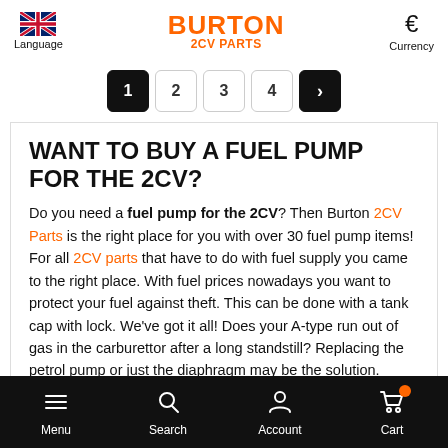Language | BURTON 2CV PARTS | Currency €
[Figure (infographic): Pagination row with buttons 1 (active/black), 2, 3, 4, and next arrow (black)]
WANT TO BUY A FUEL PUMP FOR THE 2CV?
Do you need a fuel pump for the 2CV? Then Burton 2CV Parts is the right place for you with over 30 fuel pump items! For all 2CV parts that have to do with fuel supply you came to the right place. With fuel prices nowadays you want to protect your fuel against theft. This can be done with a tank cap with lock. We've got it all! Does your A-type run out of gas in the carburettor after a long standstill? Replacing the petrol pump or just the diaphragm may be the solution.
Menu | Search | Account | Cart